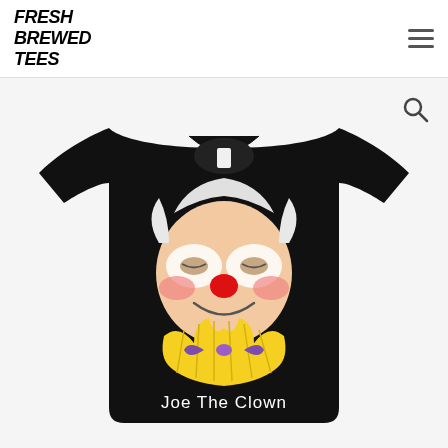FRESH BREWED TEES
[Figure (photo): Product photo of a black t-shirt featuring a cartoon illustration of Joe Biden as a clown with red nose, pink cheeks, white face paint, yellow clown collar, and purple bow tie. Text on shirt reads 'Joe The Clown'. Shown on a light grey background. Search magnifying glass icon in upper right of product image.]